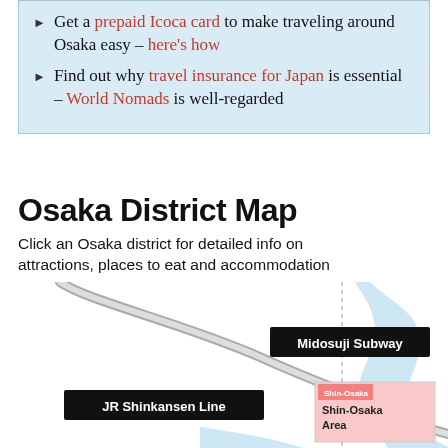Get a prepaid Icoca card to make traveling around Osaka easy – here's how
Find out why travel insurance for Japan is essential – World Nomads is well-regarded
Osaka District Map
Click an Osaka district for detailed info on attractions, places to eat and accommodation
[Figure (map): Osaka district map showing Midosuji Subway line, JR Shinkansen Line, and Shin-Osaka Area marked with a pink rectangle. Map includes roads, rivers in light blue, and dotted district boundary lines.]